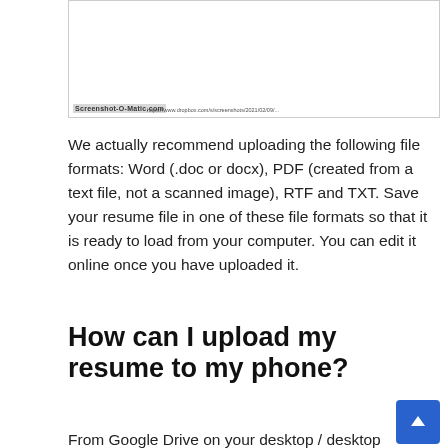[Figure (screenshot): A screenshot of a webpage or document, shown as a white box with a watermark label 'Screenshot-O-Matic.com' at the bottom left and a URL string.]
We actually recommend uploading the following file formats: Word (.doc or docx), PDF (created from a text file, not a scanned image), RTF and TXT. Save your resume file in one of these file formats so that it is ready to load from your computer. You can edit it online once you have uploaded it.
How can I upload my resume to my phone?
From Google Drive on your desktop / desktop